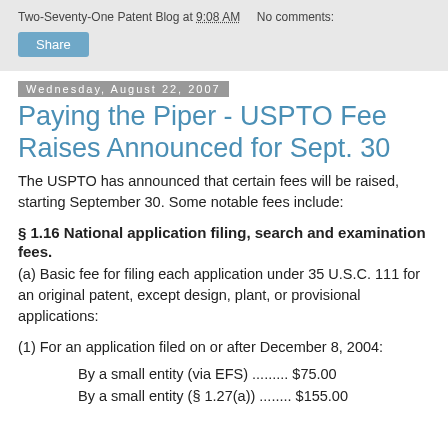Two-Seventy-One Patent Blog at 9:08 AM   No comments:
Share
Wednesday, August 22, 2007
Paying the Piper - USPTO Fee Raises Announced for Sept. 30
The USPTO has announced that certain fees will be raised, starting September 30. Some notable fees include:
§ 1.16 National application filing, search and examination fees.
(a) Basic fee for filing each application under 35 U.S.C. 111 for an original patent, except design, plant, or provisional applications:
(1) For an application filed on or after December 8, 2004:
By a small entity (via EFS) ......... $75.00
By a small entity (§ 1.27(a)) ........ $155.00